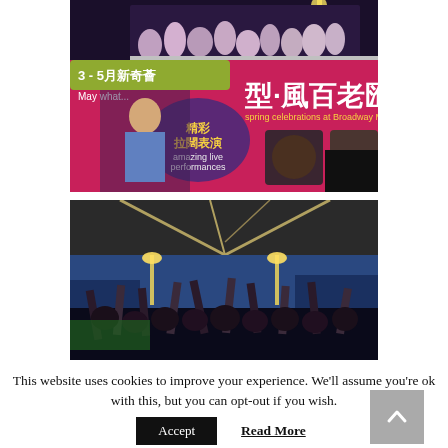[Figure (photo): Double-decker bus decorated with pink/magenta advertising for Broadway Macau spring celebrations, with Chinese text '型·風百老匯', '3-5月新奇薈', '精彩拉闊表演 amazing live performances', 'spring celebrations at Broadway Macau', and a young man playing guitar on the side graphic. Crowds of people visible on the upper deck of the bus at night.]
[Figure (photo): Night scene of a crowd with arms raised, outdoor event under a tent or canopy structure with string lights, blue night sky visible.]
This website uses cookies to improve your experience. We'll assume you're ok with this, but you can opt-out if you wish.